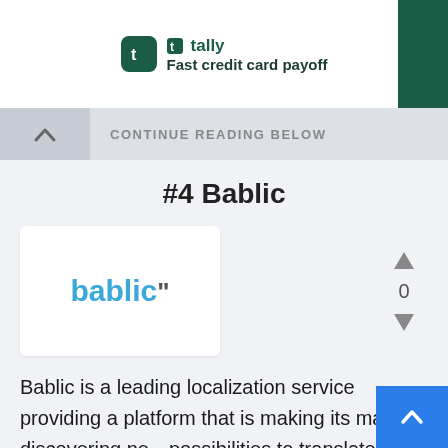[Figure (logo): Tally app ad banner with green Tally icon and text 'Fast credit card payoff']
CONTINUE READING BELOW
#4 Bablic
[Figure (logo): Bablic logo — word 'bablic' in blue with quotation mark, white card background, with vote widget showing 0 votes]
Bablic is a leading localization service providing a platform that is making its mark in discovering new possibilities to translate your website in a matter of no